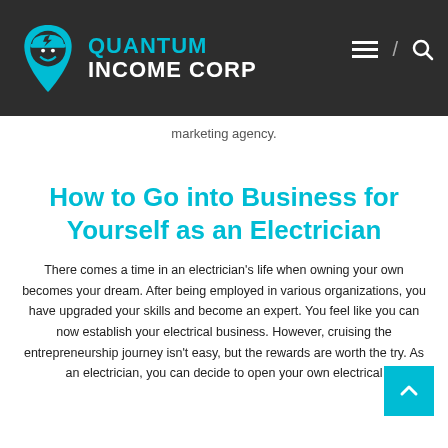[Figure (logo): Quantum Income Corp logo — teal electrician figure in hard hat with lightning bolt inside a shield/location-pin shape, beside the text QUANTUM INCOME CORP in teal and white on dark background]
marketing agency.
How to Go into Business for Yourself as an Electrician
There comes a time in an electrician's life when owning your own becomes your dream. After being employed in various organizations, you have upgraded your skills and become an expert. You feel like you can now establish your electrical business. However, cruising the entrepreneurship journey isn't easy, but the rewards are worth the try. As an electrician, you can decide to open your own electrical